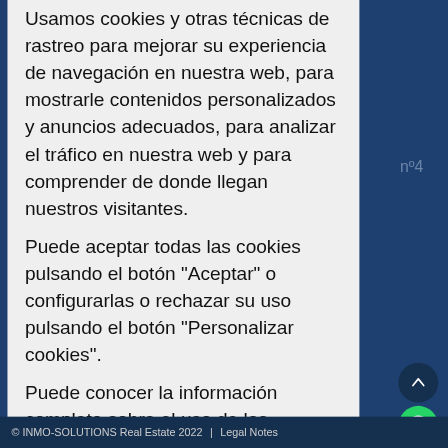Usamos cookies y otras técnicas de rastreo para mejorar su experiencia de navegación en nuestra web, para mostrarle contenidos personalizados y anuncios adecuados, para analizar el tráfico en nuestra web y para comprender de donde llegan nuestros visitantes.
Puede aceptar todas las cookies pulsando el botón "Aceptar" o configurarlas o rechazar su uso pulsando el botón "Personalizar cookies".
Puede conocer la información completa sobre el uso de las cookies, su configuración, origen, finalidad y derechos en nuestra Política de Cookies.
Aceptar | Personalizar cookies
© INMO-SOLUTIONS Real Estate 2022  |  Legal Notes